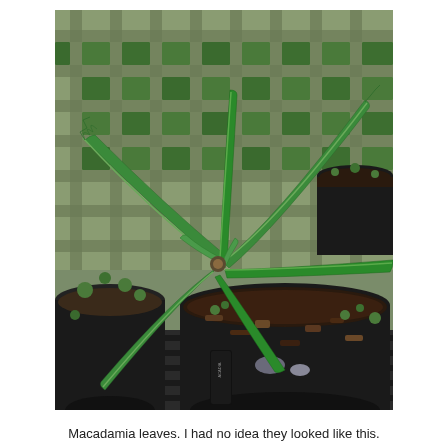[Figure (photo): A photograph showing macadamia plant leaves with serrated edges radiating from a central stem, potted in black plastic nursery pots filled with dark soil and mulch, set on a metal grid surface with a lattice background of green vegetation.]
Macadamia leaves. I had no idea they looked like this.